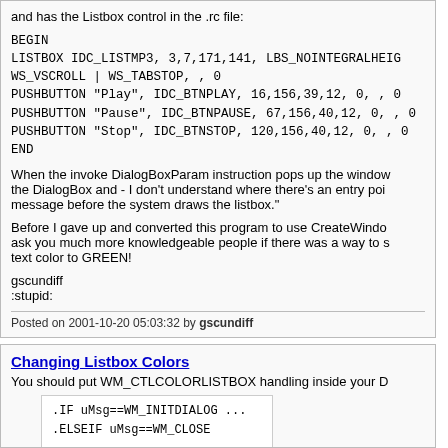and has the Listbox control in the .rc file:
BEGIN
LISTBOX IDC_LISTMP3, 3,7,171,141, LBS_NOINTEGRALHEIGH
WS_VSCROLL | WS_TABSTOP, , 0
PUSHBUTTON "Play", IDC_BTNPLAY, 16,156,39,12, 0, , 0
PUSHBUTTON "Pause", IDC_BTNPAUSE, 67,156,40,12, 0, , 0
PUSHBUTTON "Stop", IDC_BTNSTOP, 120,156,40,12, 0, , 0
END
When the invoke DialogBoxParam instruction pops up the window the DialogBox and - I don't understand where there's an entry point message before the system draws the listbox."
Before I gave up and converted this program to use CreateWindo ask you much more knowledgeable people if there was a way to s text color to GREEN!
gscundiff
:stupid:
Posted on 2001-10-20 05:03:32 by gscundiff
Changing Listbox Colors
You should put WM_CTLCOLORLISTBOX handling inside your D
.IF uMsg==WM_INITDIALOG ...
.ELSEIF uMsg==WM_CLOSE
...
... .ELSEIF uMsg==WM_CTLCOLORLISTBOX